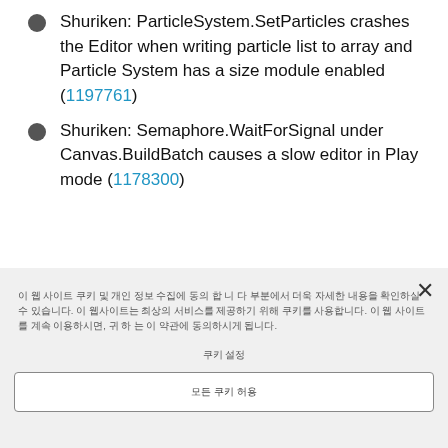Shuriken: ParticleSystem.SetParticles crashes the Editor when writing particle list to array and Particle System has a size module enabled (1197761)
Shuriken: Semaphore.WaitForSignal under Canvas.BuildBatch causes a slow editor in Play mode (1178300)
이 웹 사이트 쿠키 및 개인 정보 수집에 동의 합 니 다 부분에서 더욱 자세한 내용을 확인하실 수 있습니다. 이 웹사이트는 최상의 서비스를 제공하기 위해 쿠키를 사용합니다. 이 웹 사이트를 계속 이용하시면, 귀 하 는 이 약관에 동의하시게 됩니다.
쿠키 설정
모든 쿠키 허용